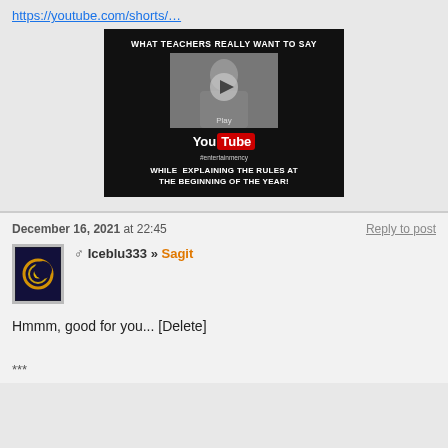https://youtube.com/shorts/…
[Figure (screenshot): YouTube video thumbnail showing 'WHAT TEACHERS REALLY WANT TO SAY' at top, a person in center with play button overlay, YouTube logo, and 'WHILE EXPLAINING THE RULES AT THE BEGINNING OF THE YEAR!' at bottom, on black background.]
December 16, 2021 at 22:45
Reply to post
[Figure (logo): User avatar for Iceblu333: dark navy background with orange and yellow spiral/crescent moon design]
♂ Iceblu333 » Sagit
Hmmm, good for you... [Delete]
***